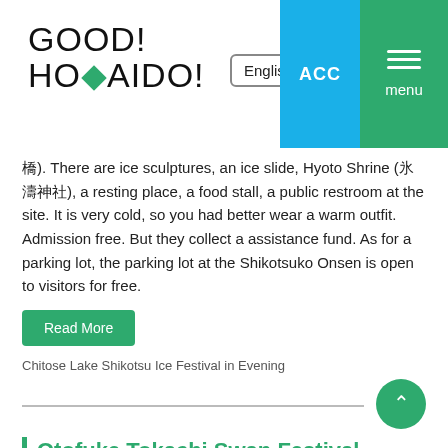[Figure (logo): GOOD! HOKKAIDO! logo with green diamond shape]
English (language selector dropdown)
ACC button (blue)
menu button (green)
橋). There are ice sculptures, an ice slide, Hyoto Shrine (氷濤神社), a resting place, a food stall, a public restroom at the site. It is very cold, so you had better wear a warm outfit. Admission free. But they collect a assistance fund. As for a parking lot, the parking lot at the Shikotsuko Onsen is open to visitors for free.
Read More
Chitose Lake Shikotsu Ice Festival in Evening
Otofuke Tokachi Swan Festival Sairinka
Otofuke Tokachigawa Swan Festival Sairinka (十勝川白鳥まつり